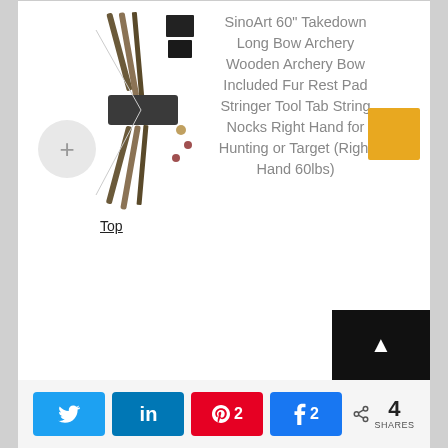[Figure (photo): Archery bow set with multiple components including bow limbs, riser, and accessories shown from the top view]
Top
SinoArt 60" Takedown Long Bow Archery Wooden Archery Bow Included Fur Rest Pad Stringer Tool Tab String Nocks Right Hand for Hunting or Target (Right Hand 60lbs)
Twitter, LinkedIn, Pinterest 2, Facebook 2, Share 4 SHARES